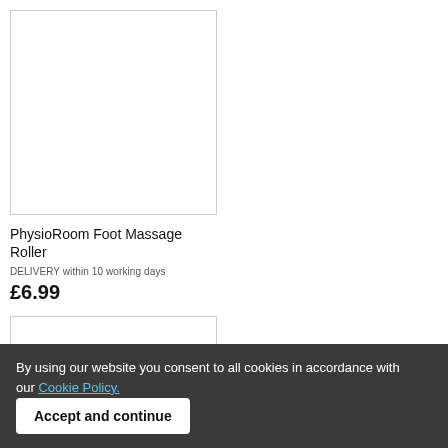[Figure (photo): White blank product image box for PhysioRoom Foot Massage Roller]
PhysioRoom Foot Massage Roller
DELIVERY within 10 working days
£6.99
[Figure (photo): White blank product image box for PhysioRoom Hand and Finger Exerciser]
PhysioRoom Hand and Finger Exerciser
DELIVERY within 10 working days
£6.99
[Figure (photo): White blank product image box (bottom left, partially visible)]
[Figure (photo): White blank product image box (bottom right, partially visible)]
By using our website you consent to all cookies in accordance with our Cookie Policy. Accept and continue